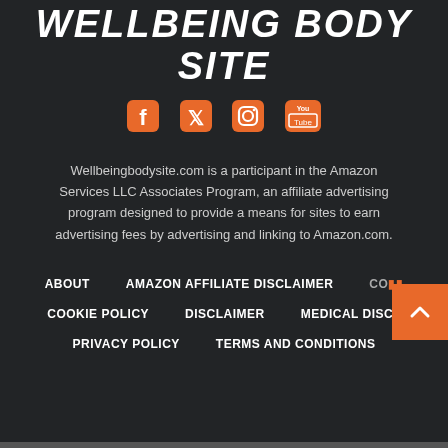WELLBEING BODY SITE
[Figure (illustration): Social media icons: Facebook, Twitter, Instagram, YouTube in orange color]
Wellbeingbodysite.com is a participant in the Amazon Services LLC Associates Program, an affiliate advertising program designed to provide a means for sites to earn advertising fees by advertising and linking to Amazon.com.
ABOUT
AMAZON AFFILIATE DISCLAIMER
CONTACT
COOKIE POLICY
DISCLAIMER
MEDICAL DISCLAIMER
PRIVACY POLICY
TERMS AND CONDITIONS